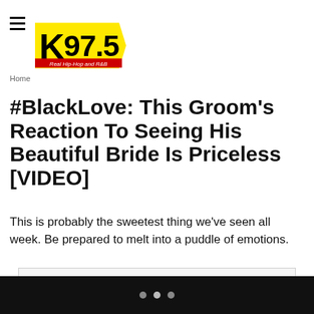K97.5 Real Hip-Hop and R&B
Home
#BlackLove: This Groom's Reaction To Seeing His Beautiful Bride Is Priceless [VIDEO]
This is probably the sweetest thing we've seen all week. Be prepared to melt into a puddle of emotions.
Sonya Eskridge